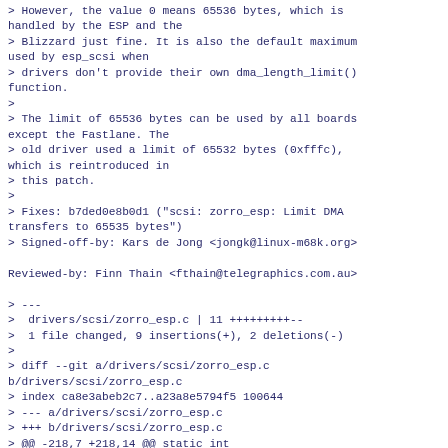> However, the value 0 means 65536 bytes, which is handled by the ESP and the
> Blizzard just fine. It is also the default maximum used by esp_scsi when
> drivers don't provide their own dma_length_limit() function.
>
> The limit of 65536 bytes can be used by all boards except the Fastlane. The
> old driver used a limit of 65532 bytes (0xfffc), which is reintroduced in
> this patch.
>
> Fixes: b7ded0e8b0d1 ("scsi: zorro_esp: Limit DMA transfers to 65535 bytes")
> Signed-off-by: Kars de Jong <jongk@linux-m68k.org>

Reviewed-by: Finn Thain <fthain@telegraphics.com.au>

> ---
>  drivers/scsi/zorro_esp.c | 11 +++++++++--
>  1 file changed, 9 insertions(+), 2 deletions(-)
>
> diff --git a/drivers/scsi/zorro_esp.c b/drivers/scsi/zorro_esp.c
> index ca8e3abeb2c7..a23a8e5794f5 100644
> --- a/drivers/scsi/zorro_esp.c
> +++ b/drivers/scsi/zorro_esp.c
> @@ -218,7 +218,14 @@ static int fastlane_esp_irq_pending(struct esp *esp)